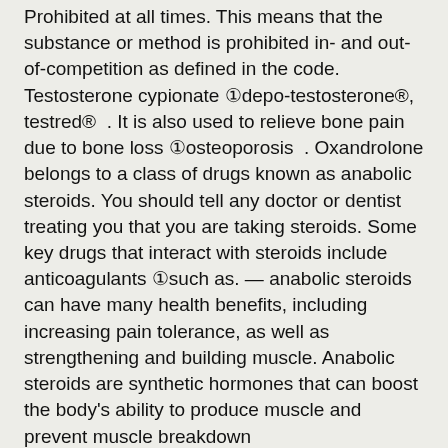Prohibited at all times. This means that the substance or method is prohibited in- and out-of-competition as defined in the code. Testosterone cypionate (depo-testosterone®, testred® . It is also used to relieve bone pain due to bone loss (osteoporosis . Oxandrolone belongs to a class of drugs known as anabolic steroids. You should tell any doctor or dentist treating you that you are taking steroids. Some key drugs that interact with steroids include anticoagulants (such as. — anabolic steroids can have many health benefits, including increasing pain tolerance, as well as strengthening and building muscle. Anabolic steroids are synthetic hormones that can boost the body's ability to produce muscle and prevent muscle breakdown